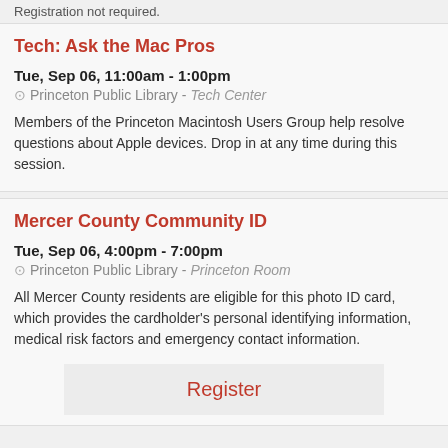Registration not required.
Tech: Ask the Mac Pros
Tue, Sep 06, 11:00am - 1:00pm
Princeton Public Library - Tech Center
Members of the Princeton Macintosh Users Group help resolve questions about Apple devices. Drop in at any time during this session.
Mercer County Community ID
Tue, Sep 06, 4:00pm - 7:00pm
Princeton Public Library - Princeton Room
All Mercer County residents are eligible for this photo ID card, which provides the cardholder's personal identifying information, medical risk factors and emergency contact information.
Register